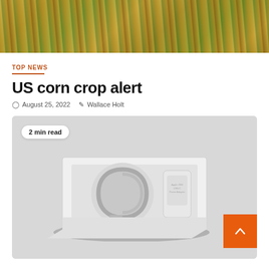[Figure (photo): Close-up photo of corn crops with yellow/green husks and stalks]
TOP NEWS
US corn crop alert
August 25, 2022  Wallace Holt
[Figure (photo): Product packaging photo showing a white box with a coiled USB cable and power adapter/charger, top-down view on grey background. Badge reads '2 min read'.]